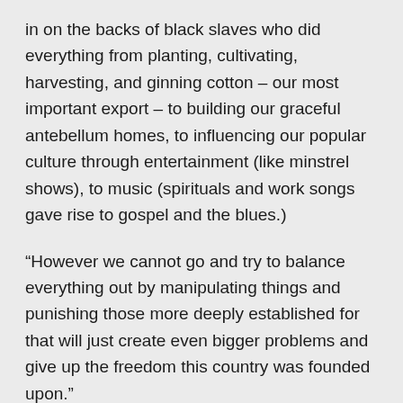in on the backs of black slaves who did everything from planting, cultivating, harvesting, and ginning cotton – our most important export – to building our graceful antebellum homes, to influencing our popular culture through entertainment (like minstrel shows), to music (spirituals and work songs gave rise to gospel and the blues.)
“However we cannot go and try to balance everything out by manipulating things and punishing those more deeply established for that will just create even bigger problems and give up the freedom this country was founded upon.”